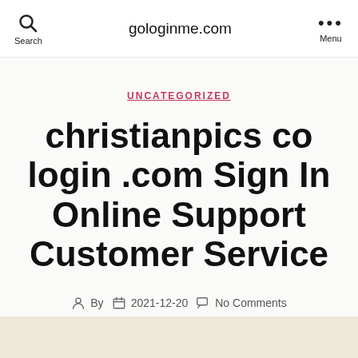gologinme.com
UNCATEGORIZED
christianpics co login .com Sign In Online Support Customer Service
By  2021-12-20  No Comments